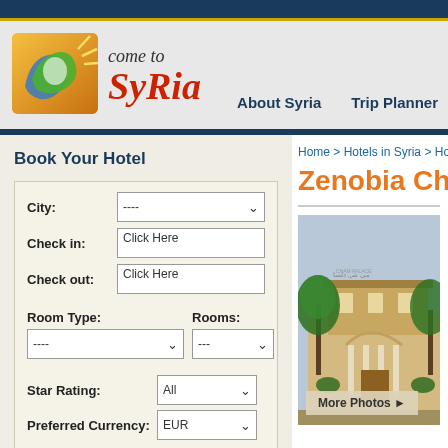[Figure (logo): Come to Syria logo with orange/yellow background, bird/map silhouette in green and blue]
come to
SyRia
About Syria   Trip Planner
Book Your Hotel
City: ----
Check in: Click Here
Check out: Click Here
Room Type: ----   Rooms: ---
Star Rating: All
Preferred Currency: EUR
Hotel Name (Optional):
Home > Hotels in Syria > Hotels in Palm...
Zenobia Cham
[Figure (photo): Hotel exterior photo showing a building with palm trees and ornate entrance, tan/beige stone facade]
More Photos ▶